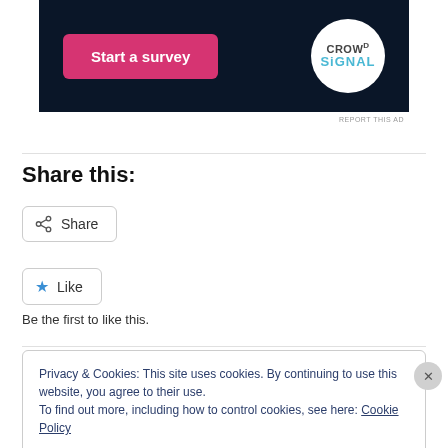[Figure (screenshot): Ad banner with dark background showing 'Start a survey' pink button and CrowdSignal circular logo on the right]
REPORT THIS AD
Share this:
[Figure (screenshot): Share button with share icon]
[Figure (screenshot): Like button with blue star icon]
Be the first to like this.
Privacy & Cookies: This site uses cookies. By continuing to use this website, you agree to their use.
To find out more, including how to control cookies, see here: Cookie Policy
Close and accept